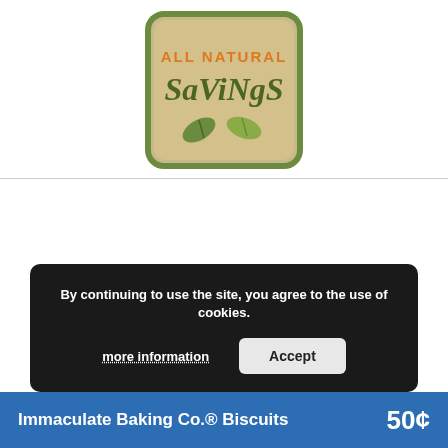[Figure (logo): All Natural Savings logo — green rounded-rectangle border with beige/tan background. Text reads 'ALL NATURAL' in orange and 'SaViNgS' in dark olive/brown with leaf graphic at bottom.]
By continuing to use the site, you agree to the use of cookies.
more information
Accept
Immaculate Baking Co.® Biscuits
50¢